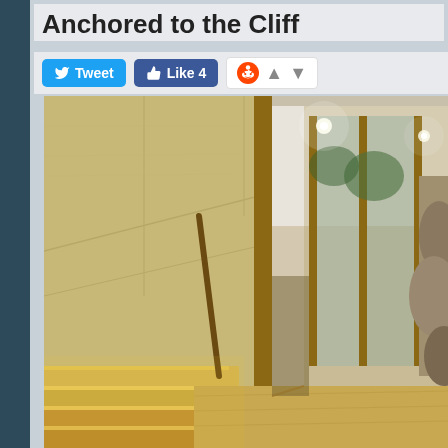Anchored to the Cliff
[Figure (screenshot): Social sharing buttons: Tweet button (Twitter/blue), Like 4 button (Facebook/blue), Reddit widget with up/down arrows]
[Figure (photo): Interior architectural photograph of a modern cliff house showing wooden plywood walls, wooden staircase with integrated lighting strips, floor-to-ceiling glass windows overlooking rocky cliff face, hardwood floors, and recessed ceiling lights.]